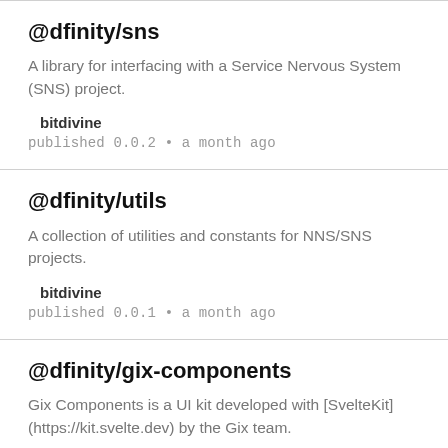@dfinity/sns
A library for interfacing with a Service Nervous System (SNS) project.
bitdivine
published 0.0.2 • a month ago
@dfinity/utils
A collection of utilities and constants for NNS/SNS projects.
bitdivine
published 0.0.1 • a month ago
@dfinity/gix-components
Gix Components is a UI kit developed with [SvelteKit](https://kit.svelte.dev) by the Gix team.
bitdivine
published 0.0.1 • 25 days ago